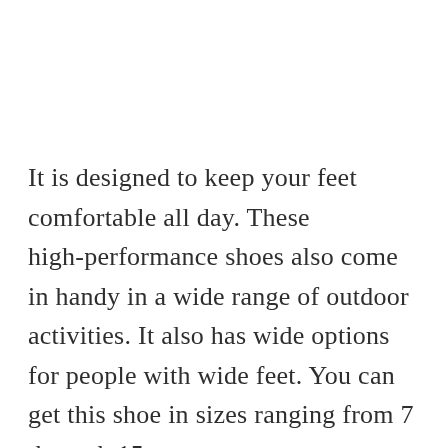It is designed to keep your feet comfortable all day. These high-performance shoes also come in handy in a wide range of outdoor activities. It also has wide options for people with wide feet. You can get this shoe in sizes ranging from 7 through 15.